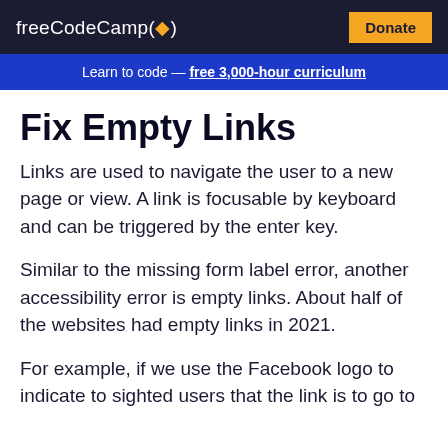freeCodeCamp(🔥)   Donate
Learn to code — free 3,000-hour curriculum
Fix Empty Links
Links are used to navigate the user to a new page or view. A link is focusable by keyboard and can be triggered by the enter key.
Similar to the missing form label error, another accessibility error is empty links. About half of the websites had empty links in 2021.
For example, if we use the Facebook logo to indicate to sighted users that the link is to go to Facebook, there needs to be link text for...